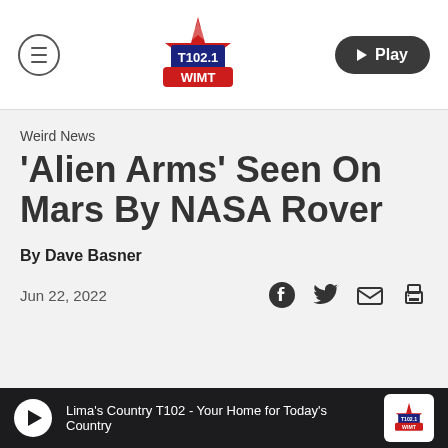T102.1 WIMT — Play
Weird News
'Alien Arms' Seen On Mars By NASA Rover
By Dave Basner
Jun 22, 2022
Lima's Country T102 - Your Home for Today's Country